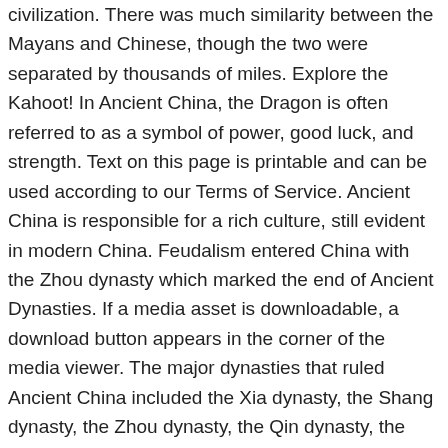civilization. There was much similarity between the Mayans and Chinese, though the two were separated by thousands of miles. Explore the Kahoot! In Ancient China, the Dragon is often referred to as a symbol of power, good luck, and strength. Text on this page is printable and can be used according to our Terms of Service. Ancient China is responsible for a rich culture, still evident in modern China. Feudalism entered China with the Zhou dynasty which marked the end of Ancient Dynasties. If a media asset is downloadable, a download button appears in the corner of the media viewer. The major dynasties that ruled Ancient China included the Xia dynasty, the Shang dynasty, the Zhou dynasty, the Qin dynasty, the Han dynasty, the Sui dynasty, and the Ming dynasty among others. She or he will best know the preferred format. Its art primarily focuses on the three perfections which include calligraphy, painting, and poetry. It was during this era that the Chinese learned to use fire and the Peking man was discovered. Confucianism was developed during the